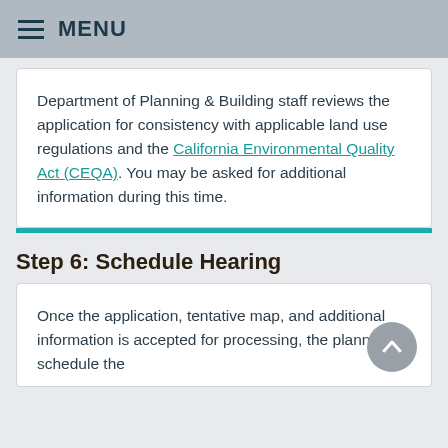MENU
Department of Planning & Building staff reviews the application for consistency with applicable land use regulations and the California Environmental Quality Act (CEQA). You may be asked for additional information during this time.
Step 6: Schedule Hearing
Once the application, tentative map, and additional information is accepted for processing, the planner will schedule the